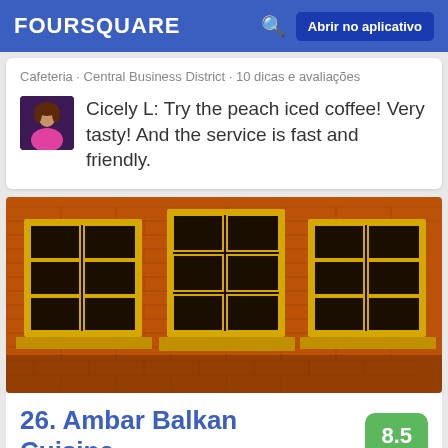FOURSQUARE   Abrir no aplicativo
Cafeteria · Central Business District · 10 dicas e avaliações
Cicely L: Try the peach iced coffee! Very tasty! And the service is fast and friendly.
[Figure (photo): Exterior brick wall of a building with three yellow-framed windows at night]
26. Ambar Balkan Cuisine
8.5